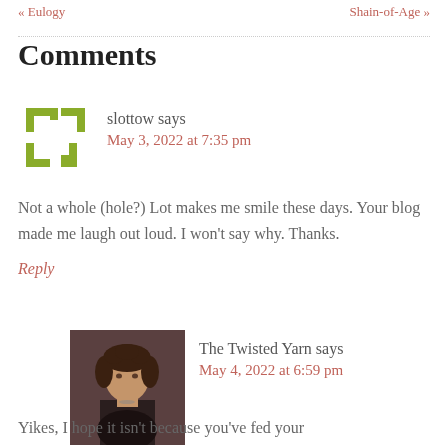« Eulogy    Shain-of-Age »
Comments
[Figure (illustration): Square avatar icon with olive/yellow-green geometric arrow shapes on a white background, representing user slottow]
slottow says
May 3, 2022 at 7:35 pm
Not a whole (hole?) Lot makes me smile these days. Your blog made me laugh out loud. I won't say why. Thanks.
Reply
[Figure (photo): Photo of a woman with curly brown hair wearing a dark top, the avatar for The Twisted Yarn]
The Twisted Yarn says
May 4, 2022 at 6:59 pm
Yikes, I hope it isn't because you've fed your